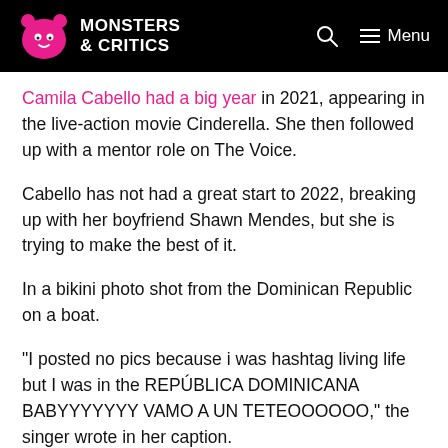Monsters & Critics
Camila Cabello had a big year in 2021, appearing in the live-action movie Cinderella. She then followed up with a mentor role on The Voice.
Cabello has not had a great start to 2022, breaking up with her boyfriend Shawn Mendes, but she is trying to make the best of it.
In a bikini photo shot from the Dominican Republic on a boat.
“I posted no pics because i was hashtag living life but I was in the REPÚBLICA DOMINICANA BABYYYYYYY VAMO A UN TETEOOOOOO,” the singer wrote in her caption.